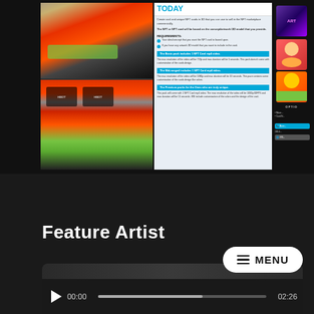[Figure (screenshot): Screenshot of a website showing colorful sneakers on the left and an NFT card creation service info page on the right, with requirements and pack options listed.]
Feature Artist
[Figure (screenshot): Video player showing a music video or feature artist content at 00:00 / 02:26 with a play button and progress bar.]
[Figure (screenshot): MENU button (hamburger menu) overlay on the page.]